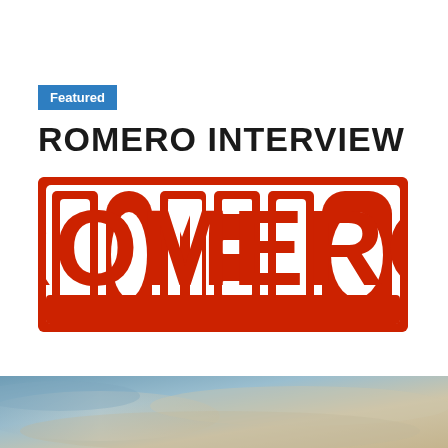Featured
ROMERO INTERVIEW
[Figure (logo): ROMERO logo in large red block letters with white cutout styling and red outer border on white background]
[Figure (photo): Partial photograph showing a sky with clouds, blue-grey tones on the left transitioning to warm sandy tones on the right]